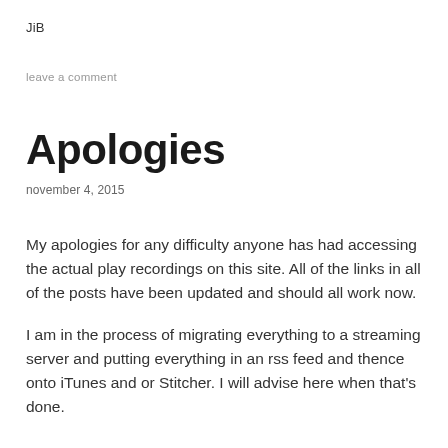JiB
leave a comment
Apologies
november 4, 2015
My apologies for any difficulty anyone has had accessing the actual play recordings on this site. All of the links in all of the posts have been updated and should all work now.
I am in the process of migrating everything to a streaming server and putting everything in an rss feed and thence onto iTunes and or Stitcher. I will advise here when that's done.